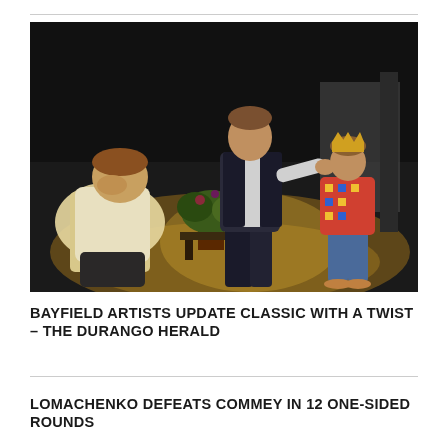[Figure (photo): Theater stage photo showing three performers: a young man in a white shirt kneeling with his head bowed on the left foreground, a taller figure in a dark vest and trousers standing center-stage gesturing with one arm, and a child wearing a colorful patterned shirt and jeans with a crown on the right. A potted plant is visible in the center background.]
BAYFIELD ARTISTS UPDATE CLASSIC WITH A TWIST – THE DURANGO HERALD
LOMACHENKO DEFEATS COMMEY IN 12 ONE-SIDED ROUNDS